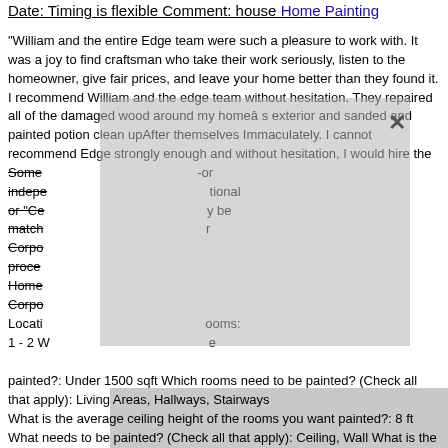Date: Timing is flexible Comment: house Home Painting
"William and the entire Edge team were such a pleasure to work with. It was a joy to find craftsman who take their work seriously, listen to the homeowner, give fair prices, and leave your home better than they found it. I recommend William and the edge team without hesitation. They repaired all of the damaged wood around my homeâ s exterior and sanded and painted potion clean upAfter themselves Immaculately. I cannot recommend Edge strongly enough and without hesitation, I would hire the
Some or independent or "Ce or they be matched or Corporate process Home Corporate Location rooms: 1 - 2 W e painted?: Under 1500 sqft Which rooms need to be painted? (Check all that apply): Living Areas, Hallways, Stairways What is the average ceiling height of the rooms you want painted?: 8 ft What needs to be painted? (Check all that apply): Ceiling, Wall What is the occupancy of the house?:
[Figure (photo): Black and white photo of a man in a white dress shirt with a polka-dot tie and pocket square, with a large yellow triangle overlaid on the lower right portion of the image]